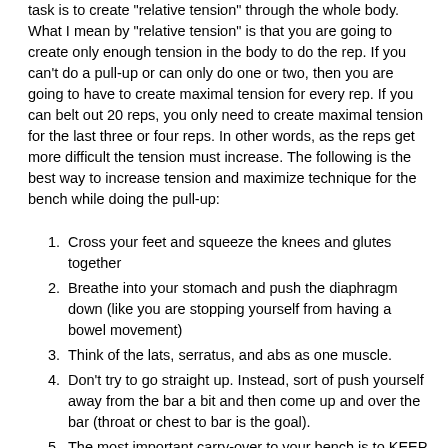task is to create "relative tension" through the whole body. What I mean by "relative tension" is that you are going to create only enough tension in the body to do the rep. If you can't do a pull-up or can only do one or two, then you are going to have to create maximal tension for every rep. If you can belt out 20 reps, you only need to create maximal tension for the last three or four reps. In other words, as the reps get more difficult the tension must increase. The following is the best way to increase tension and maximize technique for the bench while doing the pull-up:
Cross your feet and squeeze the knees and glutes together
Breathe into your stomach and push the diaphragm down (like you are stopping yourself from having a bowel movement)
Think of the lats, serratus, and abs as one muscle.
Don't try to go straight up. Instead, sort of push yourself away from the bar a bit and then come up and over the bar (throat or chest to bar is the goal).
The most important carry-over to your bench is to KEEP THE ELBOWS IN! Don't let the